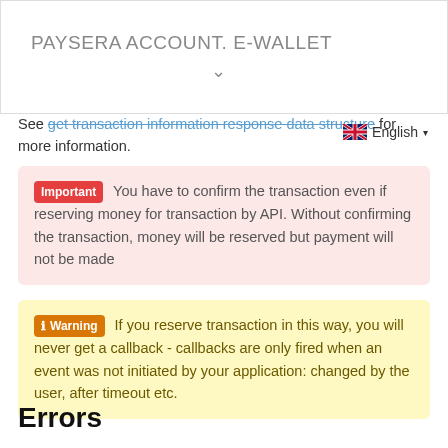PAYSERA ACCOUNT. E-WALLET
See get transaction information response data structure for more information.
Important You have to confirm the transaction even if reserving money for transaction by API. Without confirming the transaction, money will be reserved but payment will not be made
Warning If you reserve transaction in this way, you will never get a callback - callbacks are only fired when an event was not initiated by your application: changed by the user, after timeout etc.
Errors